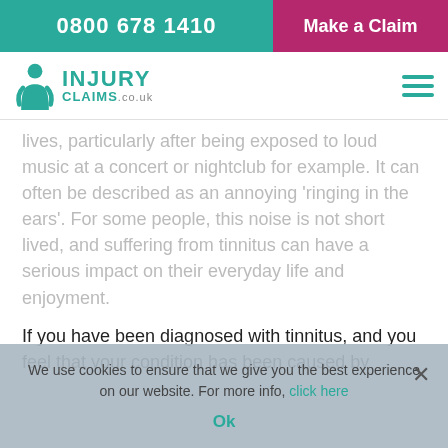0800 678 1410 | Make a Claim
[Figure (logo): Injury Claims .co.uk logo with teal figure icon and teal text, hamburger menu icon on right]
lives, particularly after being exposed to loud music at a concert or nightclub for example. It can often be described as an annoying ‘ringing in the ears’. For some people, this noise is not short lived, and suffering from tinnitus can have a serious impact on their everyday life and enjoyment.
If you have been diagnosed with tinnitus, and you feel that your condition has been caused by
We use cookies to ensure that we give you the best experience on our website. For more info, click here
Ok